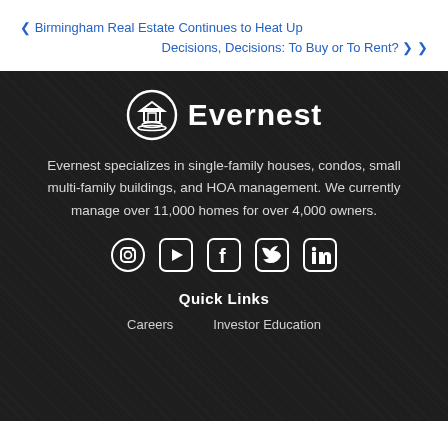❮ Birmingham Real Estate Continues to Heat Up
Decisions, Decisions: To Buy or To Rent? ❯
[Figure (logo): Evernest logo — circular icon with house and waves, and bold white text 'Evernest']
Evernest specializes in single-family houses, condos, small multi-family buildings, and HOA management. We currently manage over 11,000 homes for over 4,000 owners.
[Figure (other): Social media icons row: Instagram, YouTube, Facebook, Twitter, LinkedIn]
Quick Links
Careers    Investor Education